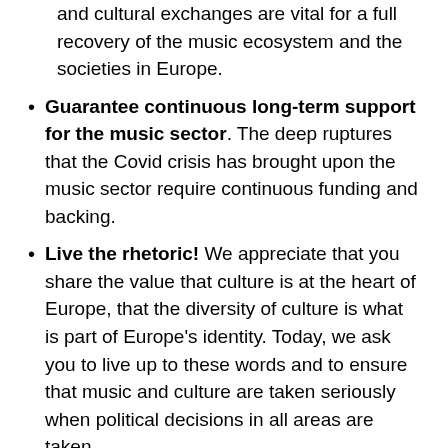and cultural exchanges are vital for a full recovery of the music ecosystem and the societies in Europe.
Guarantee continuous long-term support for the music sector. The deep ruptures that the Covid crisis has brought upon the music sector require continuous funding and backing.
Live the rhetoric! We appreciate that you share the value that culture is at the heart of Europe, that the diversity of culture is what is part of Europe's identity. Today, we ask you to live up to these words and to ensure that music and culture are taken seriously when political decisions in all areas are taken.
We are convinced that the music sector has the